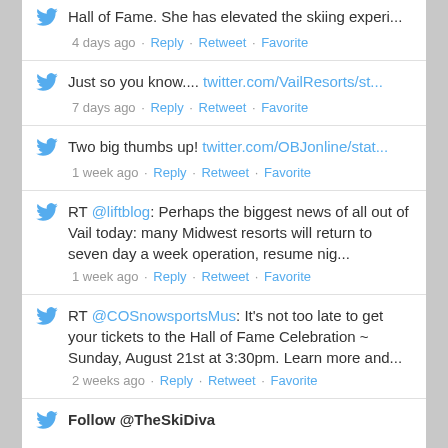Hall of Fame. She has elevated the skiing experi... 4 days ago · Reply · Retweet · Favorite
Just so you know.... twitter.com/VailResorts/st... 7 days ago · Reply · Retweet · Favorite
Two big thumbs up! twitter.com/OBJonline/stat... 1 week ago · Reply · Retweet · Favorite
RT @liftblog: Perhaps the biggest news of all out of Vail today: many Midwest resorts will return to seven day a week operation, resume nig... 1 week ago · Reply · Retweet · Favorite
RT @COSnowsportsMus: It's not too late to get your tickets to the Hall of Fame Celebration ~ Sunday, August 21st at 3:30pm. Learn more and... 2 weeks ago · Reply · Retweet · Favorite
Follow @TheSkiDiva